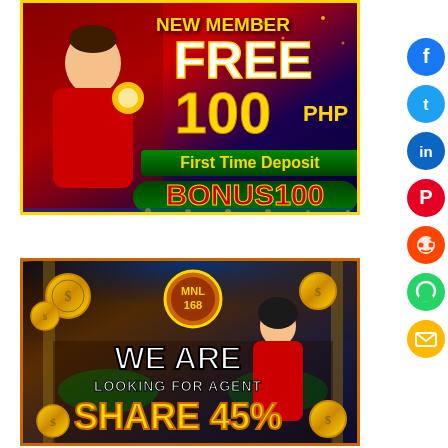[Figure (illustration): Online casino promotional banner for new member free 100 PHP bonus and first time deposit bonus 100, featuring a cartoon male character, red and purple background with yellow border]
[Figure (illustration): Online casino promotional banner for MNL168 agent recruitment, casino interior background with female dealer, gold coins, WE ARE LOOKING FOR AGENT SHARE 45% text]
[Figure (illustration): Social media sharing sidebar with Facebook, Twitter, LinkedIn, Pinterest, Reddit, WhatsApp, and Email icons on the right edge]